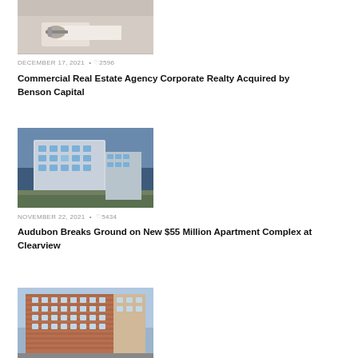[Figure (photo): Cropped photo of a person signing a document, hands visible with pen on paper]
DECEMBER 17, 2021 • ♡2596
Commercial Real Estate Agency Corporate Realty Acquired by Benson Capital
[Figure (photo): Architectural rendering of a modern multi-story apartment complex with glass facade]
NOVEMBER 22, 2021 • ♡5434
Audubon Breaks Ground on New $55 Million Apartment Complex at Clearview
[Figure (photo): Exterior view of a tall brick multi-story building with many windows against a blue sky]